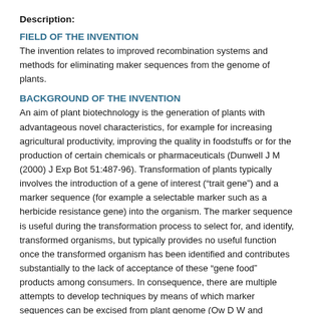Description:
FIELD OF THE INVENTION
The invention relates to improved recombination systems and methods for eliminating maker sequences from the genome of plants.
BACKGROUND OF THE INVENTION
An aim of plant biotechnology is the generation of plants with advantageous novel characteristics, for example for increasing agricultural productivity, improving the quality in foodstuffs or for the production of certain chemicals or pharmaceuticals (Dunwell J M (2000) J Exp Bot 51:487-96). Transformation of plants typically involves the introduction of a gene of interest (“trait gene”) and a marker sequence (for example a selectable marker such as a herbicide resistance gene) into the organism. The marker sequence is useful during the transformation process to select for, and identify, transformed organisms, but typically provides no useful function once the transformed organism has been identified and contributes substantially to the lack of acceptance of these “gene food” products among consumers. In consequence, there are multiple attempts to develop techniques by means of which marker sequences can be excised from plant genome (Ow D W and Medberry S L (1995) Crit. Rev in Plant Sci 14:239-261).
The person skilled in the art is familiar with a variety of systems for the site-